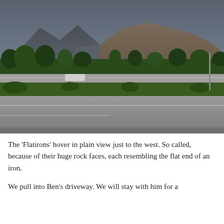[Figure (photo): Outdoor photograph showing the Flatirons mountain formation in Boulder, Colorado, visible in the background behind trees and a road intersection. The foreground shows a large paved road/intersection. The sky is overcast and grey. Trees and green foliage are visible in the middle ground, along with some cars and a road sign.]
The 'Flatirons' hover in plain view just to the west. So called, because of their huge rock faces, each resembling the flat end of an iron.
We pull into Ben's driveway. We will stay with him for a